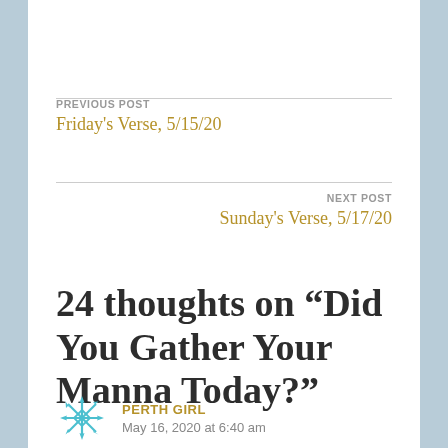PREVIOUS POST
Friday's Verse, 5/15/20
NEXT POST
Sunday's Verse, 5/17/20
24 thoughts on “Did You Gather Your Manna Today?”
PERTH GIRL
May 16, 2020 at 6:40 am